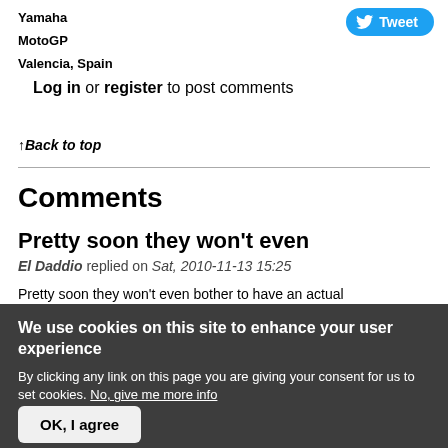Yamaha
MotoGP
Valencia, Spain
Log in or register to post comments
↑Back to top
Comments
Pretty soon they won't even
El Daddio replied on Sat, 2010-11-13 15:25
Pretty soon they won't even bother to have an actual
We use cookies on this site to enhance your user experience
By clicking any link on this page you are giving your consent for us to set cookies. No, give me more info
OK, I agree